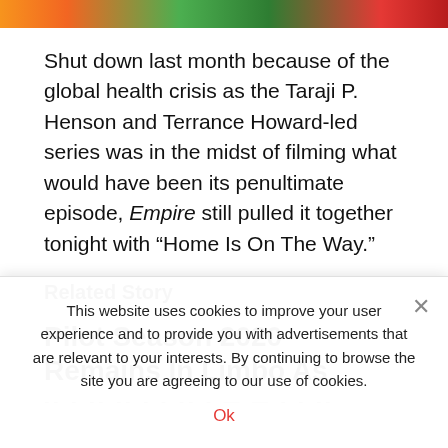[Figure (illustration): Colorful illustrated banner strip with orange, green, and red cartoon-style food/character imagery across the top of the page]
Shut down last month because of the global health crisis as the Taraji P. Henson and Terrance Howard-led series was in the midst of filming what would have been its penultimate episode, Empire still pulled it together tonight with “Home Is On The Way.”
Related Story
Pilot Season 2020 Remains In Limbo As
-- - -- -- - - -- - -- — — - - --
This website uses cookies to improve your user experience and to provide you with advertisements that are relevant to your interests. By continuing to browse the site you are agreeing to our use of cookies.
Ok